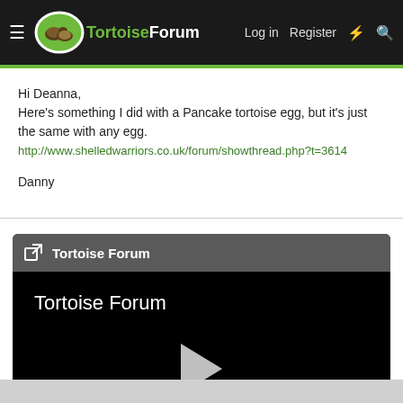TortoiseForum | Log in | Register
Hi Deanna,
Here's something I did with a Pancake tortoise egg, but it's just the same with any egg.
http://www.shelledwarriors.co.uk/forum/showthread.php?t=3614

Danny
[Figure (screenshot): Embedded video player card showing 'Tortoise Forum' header with external link icon, black video area with 'Tortoise Forum' title text and a play button triangle in the center]